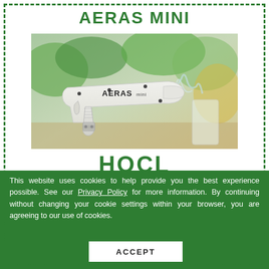AERAS MINI
[Figure (photo): White handheld spray gun device labeled 'AERAS mini' spraying liquid mist, with green plants in the background]
HOCl
This website uses cookies to help provide you the best experience possible. See our Privacy Policy for more information. By continuing without changing your cookie settings within your browser, you are agreeing to our use of cookies.
ACCEPT